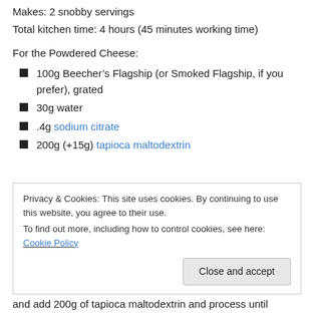Makes: 2 snobby servings
Total kitchen time: 4 hours (45 minutes working time)
For the Powdered Cheese:
100g Beecher’s Flagship (or Smoked Flagship, if you prefer), grated
30g water
.4g sodium citrate
200g (+15g) tapioca maltodextrin
Privacy & Cookies: This site uses cookies. By continuing to use this website, you agree to their use. To find out more, including how to control cookies, see here: Cookie Policy
and add 200g of tapioca maltodextrin and process until